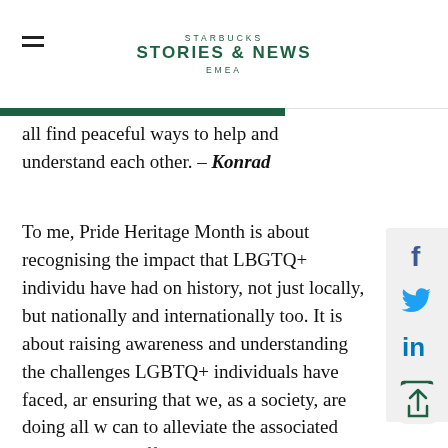STARBUCKS STORIES & NEWS EMEA
all find peaceful ways to help and understand each other. – Konrad
To me, Pride Heritage Month is about recognising the impact that LBGTQ+ individuals have had on history, not just locally, but nationally and internationally too. It is about raising awareness and understanding the challenges LGBTQ+ individuals have faced, and ensuring that we, as a society, are doing all we can to alleviate the associated pressures and difficulties. – Izzy